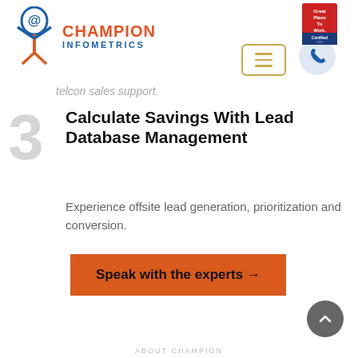[Figure (logo): Champion Infometrics logo with @ symbol icon and figure, orange and blue text]
[Figure (logo): Great Place To Work Certified badge (red/blue)]
telcon sales support.
Calculate Savings With Lead Database Management
Experience offsite lead generation, prioritization and conversion.
Speak with the experts →